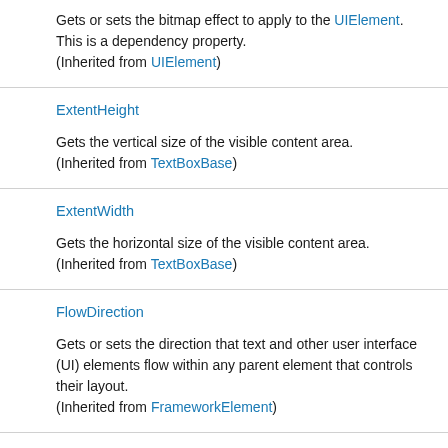Gets or sets the bitmap effect to apply to the UIElement. This is a dependency property.
(Inherited from UIElement)
ExtentHeight
Gets the vertical size of the visible content area.
(Inherited from TextBoxBase)
ExtentWidth
Gets the horizontal size of the visible content area.
(Inherited from TextBoxBase)
FlowDirection
Gets or sets the direction that text and other user interface (UI) elements flow within any parent element that controls their layout.
(Inherited from FrameworkElement)
Focusable
Gets or sets a value that indicates whether the element can receive focus. This is a dependency property.